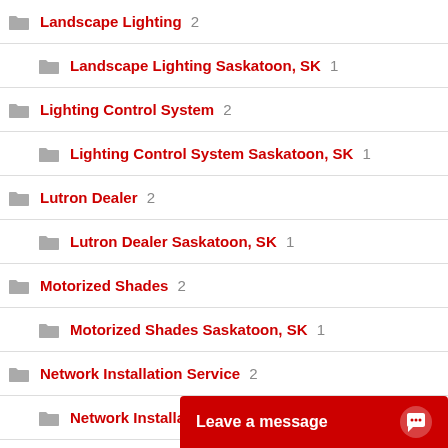Landscape Lighting 2
Landscape Lighting Saskatoon, SK 1
Lighting Control System 2
Lighting Control System Saskatoon, SK 1
Lutron Dealer 2
Lutron Dealer Saskatoon, SK 1
Motorized Shades 2
Motorized Shades Saskatoon, SK 1
Network Installation Service 2
Network Installation Service Saskatoon, SK 1
Outdoor Audio System 2
Outdoor Audio S...